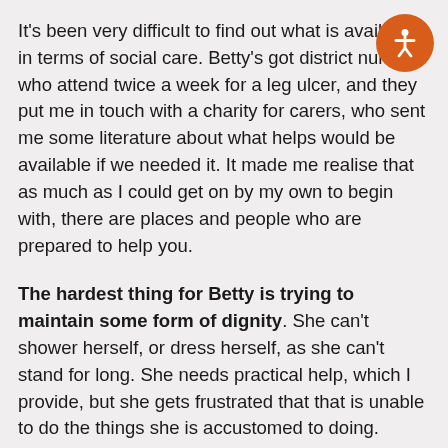It's been very difficult to find out what is available in terms of social care. Betty's got district nurses who attend twice a week for a leg ulcer, and they put me in touch with a charity for carers, who sent me some literature about what helps would be available if we needed it. It made me realise that as much as I could get on by my own to begin with, there are places and people who are prepared to help you.
The hardest thing for Betty is trying to maintain some form of dignity. She can't shower herself, or dress herself, as she can't stand for long. She needs practical help, which I provide, but she gets frustrated that that is unable to do the things she is accustomed to doing.